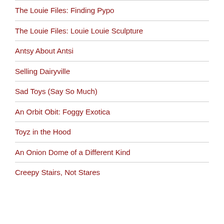The Louie Files: Finding Pypo
The Louie Files: Louie Louie Sculpture
Antsy About Antsi
Selling Dairyville
Sad Toys (Say So Much)
An Orbit Obit: Foggy Exotica
Toyz in the Hood
An Onion Dome of a Different Kind
Creepy Stairs, Not Stares